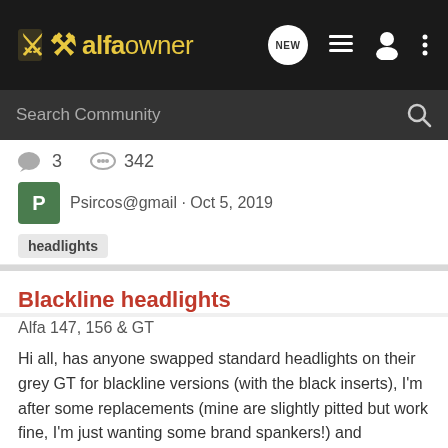alfaowner
3  342
Psircos@gmail · Oct 5, 2019
headlights
Blackline headlights
Alfa 147, 156 & GT
Hi all, has anyone swapped standard headlights on their grey GT for blackline versions (with the black inserts), I'm after some replacements (mine are slightly pitted but work fine, I'm just wanting some brand spankers!) and wondered what they would look like, im half thinking they will make the...
4  564